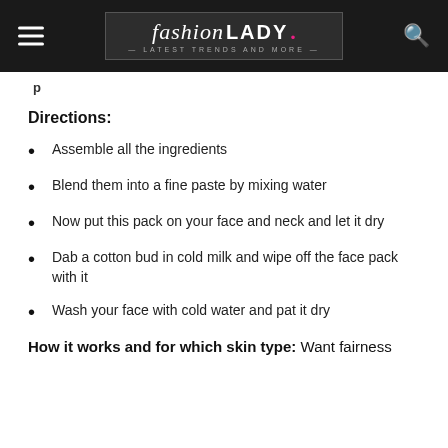fashion LADY - Latest Trends and More
Directions:
Assemble all the ingredients
Blend them into a fine paste by mixing water
Now put this pack on your face and neck and let it dry
Dab a cotton bud in cold milk and wipe off the face pack with it
Wash your face with cold water and pat it dry
How it works and for which skin type: Want fairness